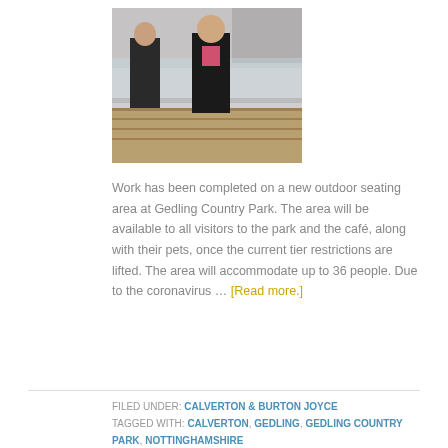[Figure (photo): Two men standing on an outdoor decking area with glass railings, overcast sky, one man in a dark coat holding a ribbon or rope]
Work has been completed on a new outdoor seating area at Gedling Country Park. The area will be available to all visitors to the park and the café, along with their pets, once the current tier restrictions are lifted. The area will accommodate up to 36 people. Due to the coronavirus … [Read more.]
FILED UNDER: CALVERTON & BURTON JOYCE
TAGGED WITH: CALVERTON, GEDLING, GEDLING COUNTRY PARK, NOTTINGHAMSHIRE